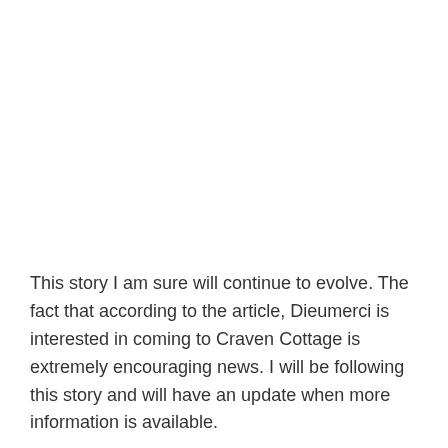This story I am sure will continue to evolve. The fact that according to the article, Dieumerci is interested in coming to Craven Cottage is extremely encouraging news. I will be following this story and will have an update when more information is available.